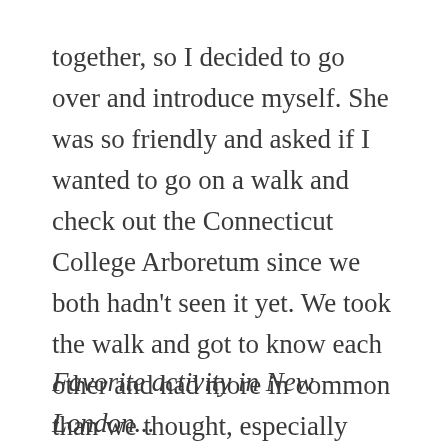together, so I decided to go over and introduce myself. She was so friendly and asked if I wanted to go on a walk and check out the Connecticut College Arboretum since we both hadn't seen it yet. We took the walk and got to know each other and had more in common than we thought, especially connecting on the idea we were both pretty homesick. Our friendship grew from then on and we are still close, often going on runs and walks in the Arbo!
Favorite activity in New London...